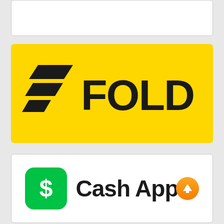[Figure (logo): Fold app logo — bold black stylized 'F' chevron icon on yellow background with 'FOLD' text in black]
[Figure (logo): Cash App logo — green rounded square icon with white dollar sign, 'Cash App' text in black with orange upward arrow badge]